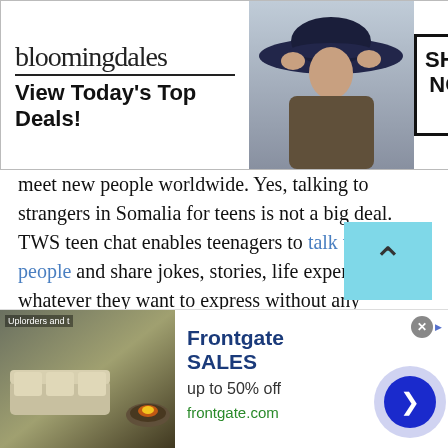[Figure (screenshot): Bloomingdales advertisement banner: logo text 'bloomingdales', tagline 'View Today's Top Deals!', woman in wide-brim hat, 'SHOP NOW >' button in black border box]
meet new people worldwide. Yes, talking to strangers in Somalia for teens is not a big deal. TWS teen chat enables teenagers to talk to random people and share jokes, stories, life experiences or whatever they want to express without any account. Yes, there is no hassle to create an account or tackle the registration process. Talking to strangers in Somalia for teens is extremely fun and absolutely free.
[Figure (screenshot): Frontgate SALES advertisement: outdoor furniture image, 'Frontgate SALES', 'up to 50% off', 'frontgate.com', navigation arrow circle button]